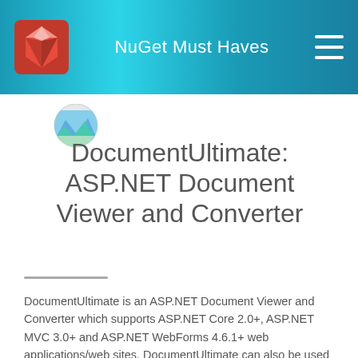NuGet Must Haves
[Figure (logo): Package/library icon with mountain/landscape image]
DocumentUltimate: ASP.NET Document Viewer and Converter
DocumentUltimate is an ASP.NET Document Viewer and Converter which supports ASP.NET Core 2.0+, ASP.NET MVC 3.0+ and ASP.NET WebForms 4.6.1+ web applications/web sites. DocumentUltimate can also be used with .NET Core 2.0+ and .NET Framework 4.6.1+ console/desktop applications for conversion between ...